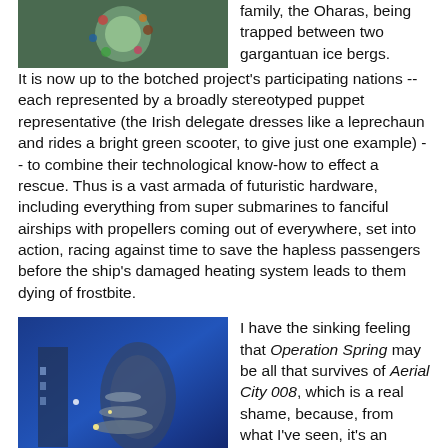[Figure (photo): Top image showing a circular object with green and decorative elements on a dark background]
family, the Oharas, being trapped between two gargantuan ice bergs. It is now up to the botched project's participating nations -- each represented by a broadly stereotyped puppet representative (the Irish delegate dresses like a leprechaun and rides a bright green scooter, to give just one example) -- to combine their technological know-how to effect a rescue. Thus is a vast armada of futuristic hardware, including everything from super submarines to fanciful airships with propellers coming out of everywhere, set into action, racing against time to save the hapless passengers before the ship's damaged heating system leads to them dying of frostbite.
[Figure (photo): Bottom image showing a blue-lit futuristic scene with a large round structure and lit platforms]
I have the sinking feeling that Operation Spring may be all that survives of Aerial City 008, which is a real shame, because, from what I've seen, it's an